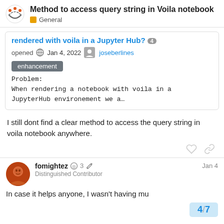Method to access query string in Voila notebook — General
rendered with voila in a Jupyter Hub? [4]
opened Jan 4, 2022 joseberlines
enhancement
Problem:
When rendering a notebook with voila in a
JupyterHub environement we a…
I still dont find a clear method to access the query string in voila notebook anywhere.
fomightez ◎  3 ✏ Jan 4
Distinguished Contributor
In case it helps anyone, I wasn't having mu
4/7